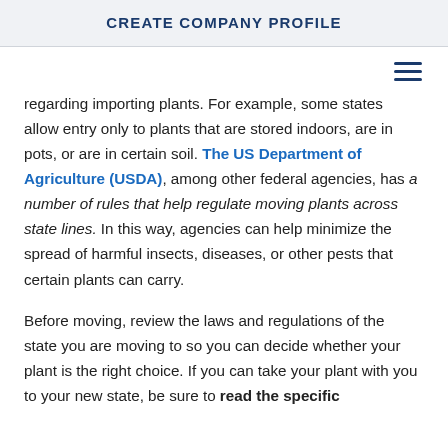CREATE COMPANY PROFILE
regarding importing plants. For example, some states allow entry only to plants that are stored indoors, are in pots, or are in certain soil. The US Department of Agriculture (USDA), among other federal agencies, has a number of rules that help regulate moving plants across state lines. In this way, agencies can help minimize the spread of harmful insects, diseases, or other pests that certain plants can carry.
Before moving, review the laws and regulations of the state you are moving to so you can decide whether your plant is the right choice. If you can take your plant with you to your new state, be sure to read the specific